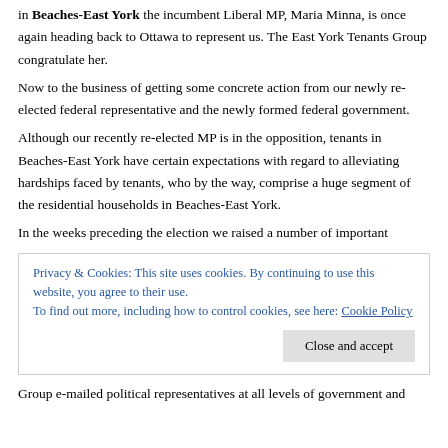in Beaches-East York the incumbent Liberal MP, Maria Minna, is once again heading back to Ottawa to represent us. The East York Tenants Group congratulate her.
Now to the business of getting some concrete action from our newly re-elected federal representative and the newly formed federal government.
Although our recently re-elected MP is in the opposition, tenants in Beaches-East York have certain expectations with regard to alleviating hardships faced by tenants, who by the way, comprise a huge segment of the residential households in Beaches-East York.
In the weeks preceding the election we raised a number of important
Privacy & Cookies: This site uses cookies. By continuing to use this website, you agree to their use.
To find out more, including how to control cookies, see here: Cookie Policy
Group e-mailed political representatives at all levels of government and